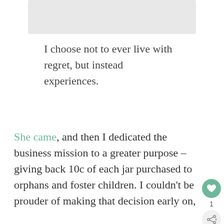[Figure (photo): Partially visible image at top of page (cropped), light gray placeholder area]
I choose not to ever live with regret, but instead experiences.
She came, and then I dedicated the business mission to a greater purpose – giving back 10c of each jar purchased to orphans and foster children. I couldn't be prouder of making that decision early on,